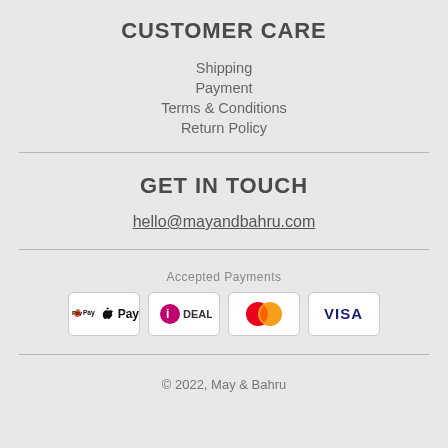CUSTOMER CARE
Shipping
Payment
Terms & Conditions
Return Policy
GET IN TOUCH
hello@mayandbahru.com
Accepted Payments
[Figure (logo): Payment method logos: Apple Pay, iDEAL, Mastercard, Visa]
© 2022, May & Bahru